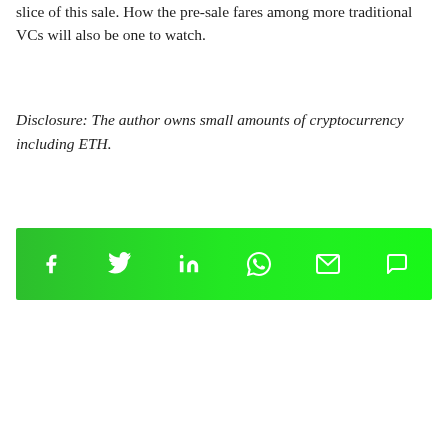slice of this sale. How the pre-sale fares among more traditional VCs will also be one to watch.
Disclosure: The author owns small amounts of cryptocurrency including ETH.
[Figure (other): Social share bar with icons for Facebook, Twitter, LinkedIn, WhatsApp, Email, and Comment]